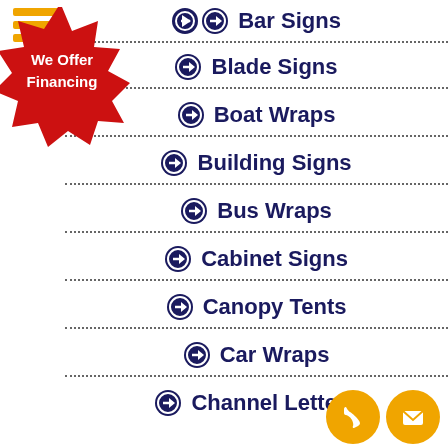[Figure (other): Orange hamburger menu icon with three horizontal bars and 'MENU' text below in orange]
Bar Signs
Blade Signs
Boat Wraps
Building Signs
Bus Wraps
Cabinet Signs
Canopy Tents
Car Wraps
Channel Letters
[Figure (other): Red starburst badge with white text 'We Offer Financing']
[Figure (other): Orange circle phone icon and orange circle email/envelope icon]